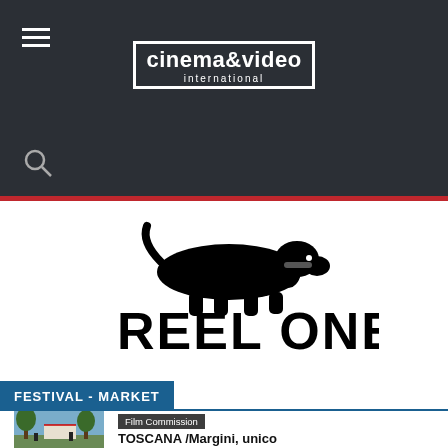cinema&video international
[Figure (logo): Reel One logo with dachshund dog silhouette above bold text REEL ONE]
FESTIVAL - MARKET
[Figure (photo): Outdoor film set or festival scene with people and equipment under trees]
Film Commission
TOSCANA /Margini, unico italiano in concorso alla SIC
31 Agosto 2022